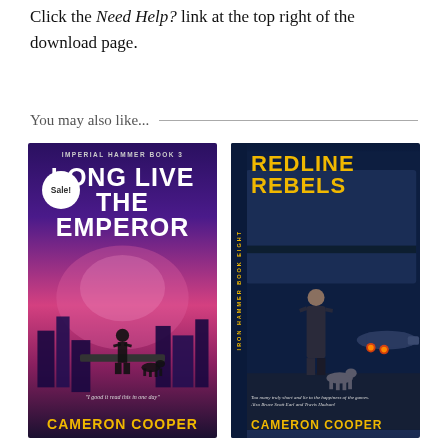Click the Need Help? link at the top right of the download page.
You may also like...
[Figure (illustration): Book cover: 'Long Live the Emperor' by Cameron Cooper. Imperial Hammer Book 3. Purple and pink sci-fi cover with a figure standing on a platform, a city skyline, and a dog. Sale! badge. Author name in gold at bottom.]
[Figure (illustration): Book cover: 'Redline Rebels' by Cameron Cooper. Iron Hammer Book Eight. Blue sci-fi cover with armed woman and dog on a tarmac with aircraft. Title in gold letters. Author name in gold at bottom.]